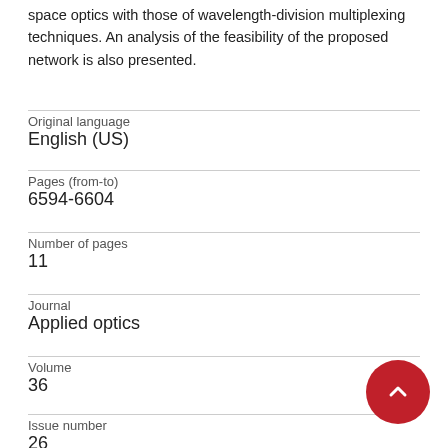space optics with those of wavelength-division multiplexing techniques. An analysis of the feasibility of the proposed network is also presented.
| Original language | English (US) |
| Pages (from-to) | 6594-6604 |
| Number of pages | 11 |
| Journal | Applied optics |
| Volume | 36 |
| Issue number | 26 |